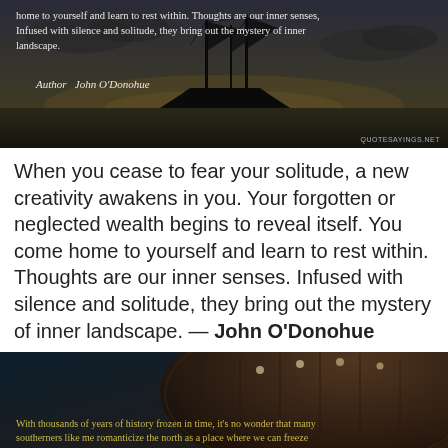[Figure (photo): Dark atmospheric image of a silhouetted tall ship at sea against a dramatic twilight sky with text overlay of a John O'Donohue quote and quotesayings.net watermark]
When you cease to fear your solitude, a new creativity awakens in you. Your forgotten or neglected wealth begins to reveal itself. You come home to yourself and learn to rest within. Thoughts are our inner senses. Infused with silence and solitude, they bring out the mystery of inner landscape. — John O'Donohue
[Figure (photo): Dark atmospheric image of what appears to be a historic building or ship structure with a partial quote overlay in yellow-gold text about southern history and romanticizing the north]